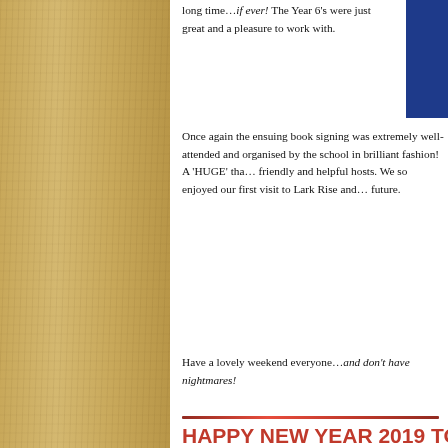long time…if ever!  The Year 6's were just great and a pleasure to work with.
Once again the ensuing book signing was extremely well-attended and organised by the school in brilliant fashion!  A 'HUGE' tha… friendly and helpful hosts. We so enjoyed our first visit to Lark Rise and… future.
Have a lovely weekend everyone…and don't have nightmares!
[Figure (other): Calendar icon showing JAN 04 in red and white]
HAPPY NEW YEAR 2019 TO ALL OU…
This post was written by peterjmurray on January 4th, 2019 2:46…
After a relaxing (sometimes tiring!) Christmas and New Year holiday, w… do best, promote a love of reading…especially our very own creepy, act…
[Figure (photo): Photo of a man with grey/white hair in what appears to be an indoor setting with decorative items visible in background]